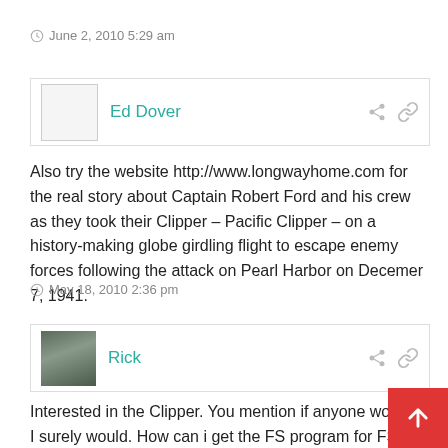June 2, 2010 5:29 am
Ed Dover
Also try the website http://www.longwayhome.com for the real story about Captain Robert Ford and his crew as they took their Clipper – Pacific Clipper – on a history-making globe girdling flight to escape enemy forces following the attack on Pearl Harbor on Decemer 7, 1941.
May 18, 2010 2:36 pm
Rick
Interested in the Clipper. You mention if anyone would it- I surely would. How can i get the FS program for FS. Does one exist? I too, as others have mentioned, read the